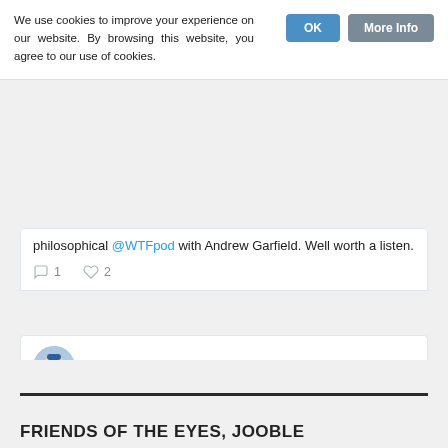We use cookies to improve your experience on our website. By browsing this website, you agree to our use of cookies.
philosophical @WTFpod with Andrew Garfield. Well worth a listen.
1   2
The Studio ... @studio... · Aug 22  BREAKING: HBO confirm The Last of Us show will be a “Zany comedy full of slapstick and mom jokes.”
[Figure (photo): Partial tweet image showing a person's head/face against a brown/orange background]
FRIENDS OF THE EYES, JOOBLE